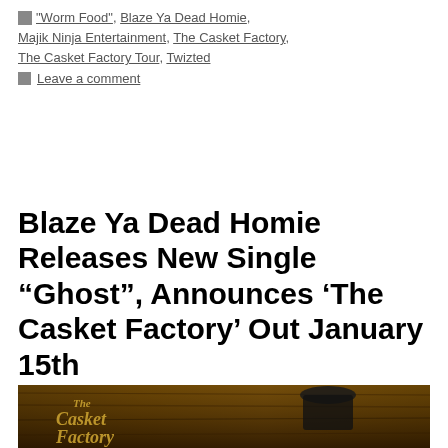"Worm Food", Blaze Ya Dead Homie, Majik Ninja Entertainment, The Casket Factory, The Casket Factory Tour, Twizted
Leave a comment
Blaze Ya Dead Homie Releases New Single “Ghost”, Announces ‘The Casket Factory’ Out January 15th
[Figure (photo): Album artwork for The Casket Factory by Blaze Ya Dead Homie, showing a figure in a dark hat against a wooden background with decorative text logo]